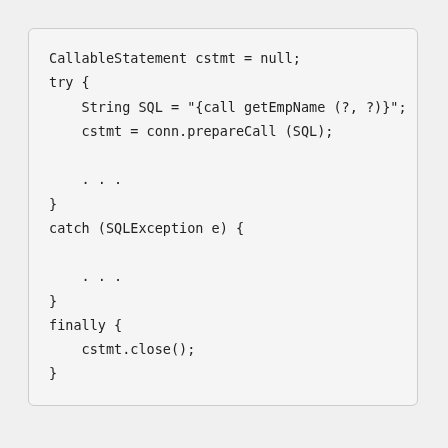CallableStatement cstmt = null;
try {
    String SQL = "{call getEmpName (?, ?)}";
    cstmt = conn.prepareCall (SQL);

    . . .
}
catch (SQLException e) {

    . . .
}
finally {
    cstmt.close();
}